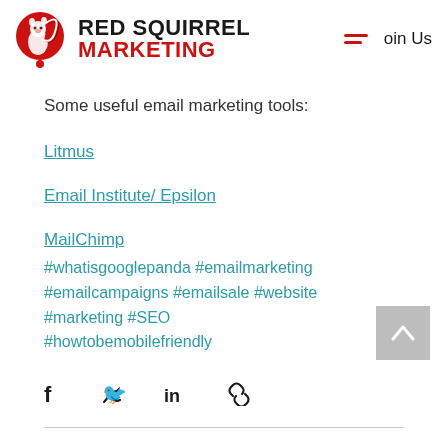Red Squirrel Marketing — Join Us
Some useful email marketing tools:
Litmus
Email Institute/ Epsilon
MailChimp
#whatisgooglepanda #emailmarketing #emailcampaigns #emailsale #website #marketing #SEO #howtobemobilefriendly